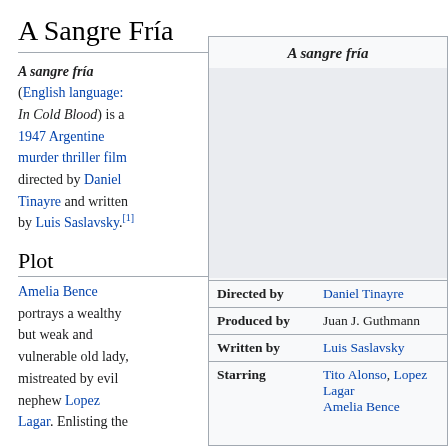A Sangre Fría
A sangre fría (English language: In Cold Blood) is a 1947 Argentine murder thriller film directed by Daniel Tinayre and written by Luis Saslavsky.[1]
Plot
Amelia Bence portrays a wealthy but weak and vulnerable old lady, mistreated by evil nephew Lopez Lagar. Enlisting the
| Field | Value |
| --- | --- |
| Directed by | Daniel Tinayre |
| Produced by | Juan J. Guthmann |
| Written by | Luis Saslavsky |
| Starring | Tito Alonso, Lopez Lagar, Amelia Bence |